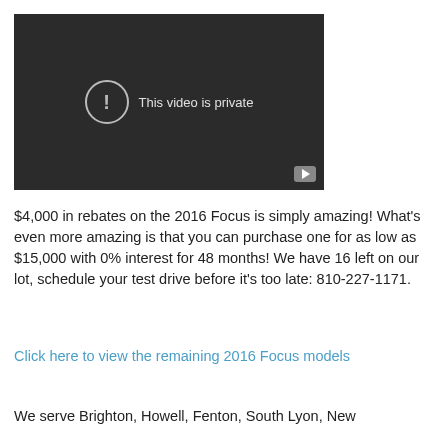[Figure (screenshot): Video player showing 'This video is private' message with YouTube logo in lower right corner, dark background.]
$4,000 in rebates on the 2016 Focus is simply amazing! What's even more amazing is that you can purchase one for as low as $15,000 with 0% interest for 48 months! We have 16 left on our lot, schedule your test drive before it's too late: 810-227-1171.
Click here to view the remaining 2016 Focus models
We serve Brighton, Howell, Fenton, South Lyon, New